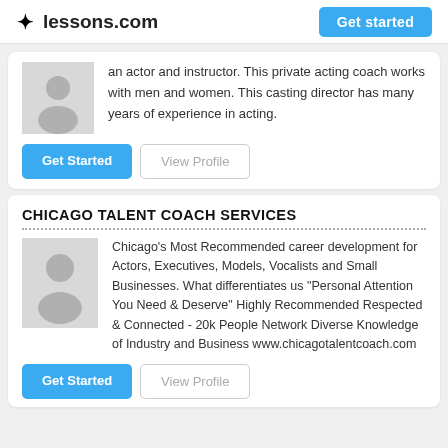lessons.com | Get started
an actor and instructor. This private acting coach works with men and women. This casting director has many years of experience in acting.
Get Started | View Profile
CHICAGO TALENT COACH SERVICES
Chicago's Most Recommended career development for Actors, Executives, Models, Vocalists and Small Businesses. What differentiates us "Personal Attention You Need & Deserve" Highly Recommended Respected & Connected - 20k People Network Diverse Knowledge of Industry and Business www.chicagotalentcoach.com
Get Started | View Profile